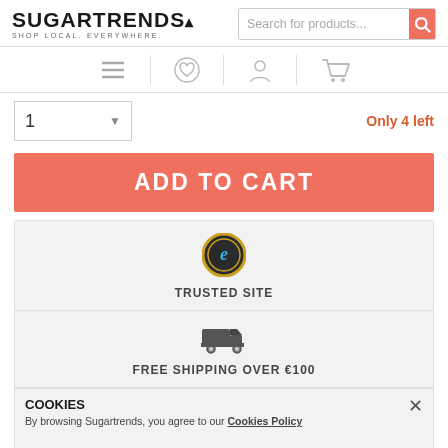[Figure (logo): Sugartrends logo with tagline SHOP LOCAL. EVERYWHERE.]
[Figure (screenshot): Search bar with text 'Search for products...' and salmon/red search button with magnifying glass icon]
[Figure (infographic): Navigation icons bar: hamburger menu, heart/wishlist, user/account, shopping cart]
1
Only 4 left
ADD TO CART
[Figure (logo): Trusted site seal/badge - circular gold and black e-commerce trust badge]
TRUSTED SITE
[Figure (illustration): Delivery truck icon in dark gray]
FREE SHIPPING OVER €100
COOKIES
By browsing Sugartrends, you agree to our Cookies Policy
30 DAYS RETURN